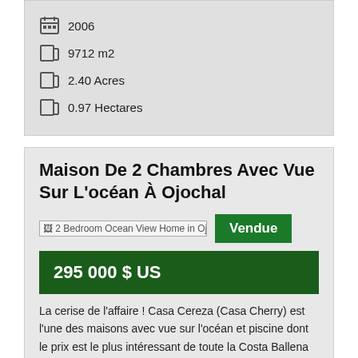2006
9712 m2
2.40 Acres
0.97 Hectares
Maison De 2 Chambres Avec Vue Sur L'océan À Ojochal
[Figure (photo): 2 Bedroom Ocean View Home in Ojochal thumbnail image]
Vendue
295 000 $ US
La cerise de l'affaire ! Casa Cereza (Casa Cherry) est l'une des maisons avec vue sur l'océan et piscine dont le prix est le plus intéressant de toute la Costa Ballena